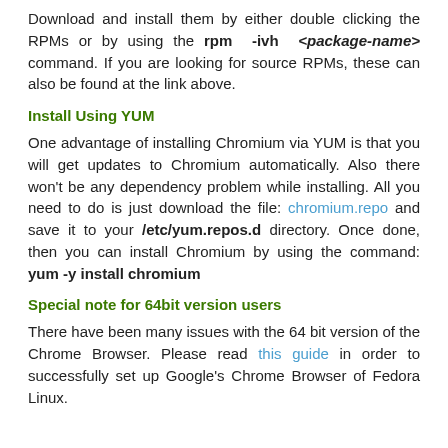Download and install them by either double clicking the RPMs or by using the rpm -ivh <package-name> command. If you are looking for source RPMs, these can also be found at the link above.
Install Using YUM
One advantage of installing Chromium via YUM is that you will get updates to Chromium automatically. Also there won't be any dependency problem while installing. All you need to do is just download the file: chromium.repo and save it to your /etc/yum.repos.d directory. Once done, then you can install Chromium by using the command: yum -y install chromium
Special note for 64bit version users
There have been many issues with the 64 bit version of the Chrome Browser. Please read this guide in order to successfully set up Google's Chrome Browser of Fedora Linux.